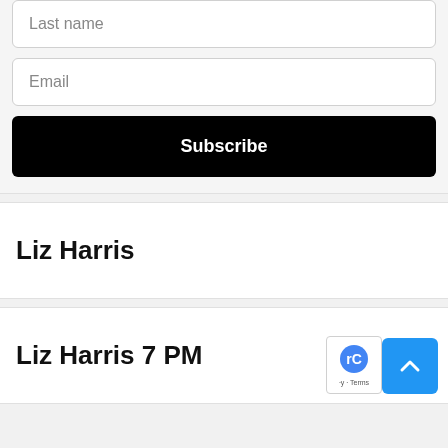Last name
Email
Subscribe
Liz Harris
Liz Harris 7 PM